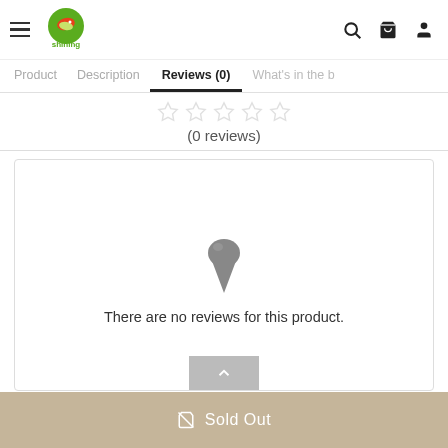[Figure (logo): Shining brand logo with green circle and red/green fish icon, text 'shining' below in green]
Navigation header with hamburger menu, Shining logo, search icon, cart icon, user icon
Product | Description | Reviews (0) | What's in the b...
[Figure (other): Five empty/faded star rating icons]
(0 reviews)
[Figure (illustration): Gray ice cream cone icon indicating no reviews]
There are no reviews for this product.
Sold Out